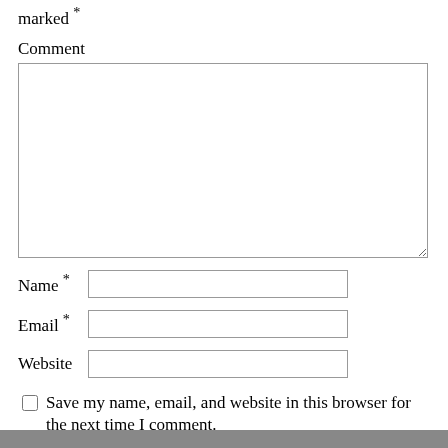marked *
Comment
Name *
Email *
Website
Save my name, email, and website in this browser for the next time I comment.
Post Comment
Search...